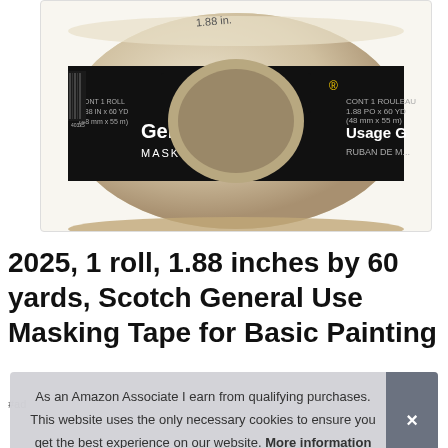[Figure (photo): Scotch General Use Masking Tape roll product image. The roll shows a cream/beige colored tape with a black label band reading 'Scotch General Use Masking Tape'. The Scotch logo is in yellow text. Right side shows 'Usage G' text partially visible.]
2025, 1 roll, 1.88 inches by 60 yards, Scotch General Use Masking Tape for Basic Painting
#ad
As an Amazon Associate I earn from qualifying purchases. This website uses the only necessary cookies to ensure you get the best experience on our website. More information